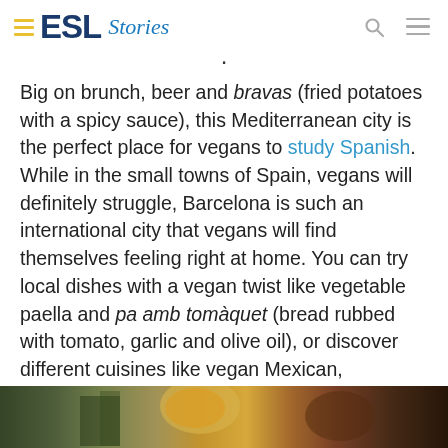ESL Stories
Big on brunch, beer and bravas (fried potatoes with a spicy sauce), this Mediterranean city is the perfect place for vegans to study Spanish. While in the small towns of Spain, vegans will definitely struggle, Barcelona is such an international city that vegans will find themselves feeling right at home. You can try local dishes with a vegan twist like vegetable paella and pa amb tomàquet (bread rubbed with tomato, garlic and olive oil), or discover different cuisines like vegan Mexican, Lebanese or Indian.
[Figure (photo): Bottom strip showing a colorful food market or restaurant scene]